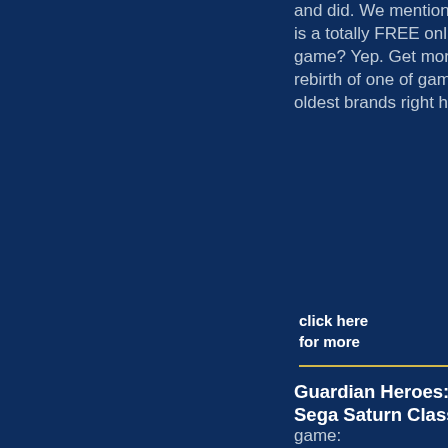and did. We mention that this is a totally FREE online game? Yep. Get more on the rebirth of one of gaming\'s oldest brands right here.
click here for more
Guardian Heroes: A Sega Saturn Classic
game: Guardian